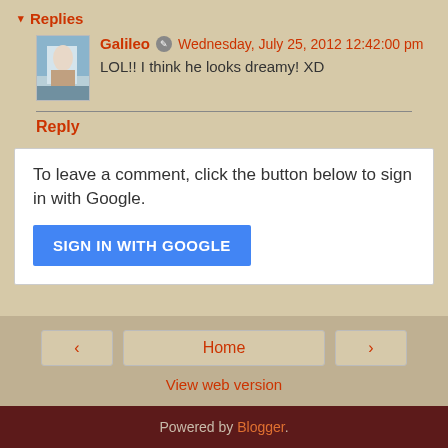▾ Replies
Galileo ✎ Wednesday, July 25, 2012 12:42:00 pm
LOL!! I think he looks dreamy! XD
Reply
To leave a comment, click the button below to sign in with Google.
SIGN IN WITH GOOGLE
‹
Home
›
View web version
Powered by Blogger.